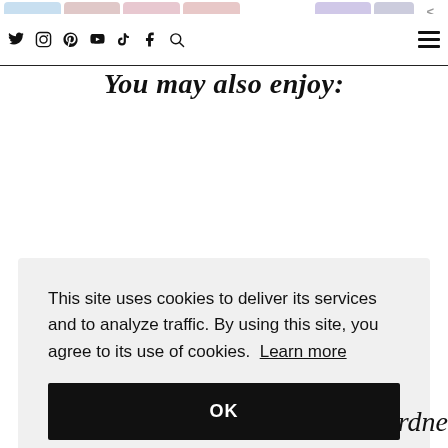Twitter Instagram Pinterest YouTube TikTok Facebook Search [hamburger menu]
You may also enjoy:
This site uses cookies to deliver its services and to analyze traffic. By using this site, you agree to its use of cookies. Learn more
OK
rdne